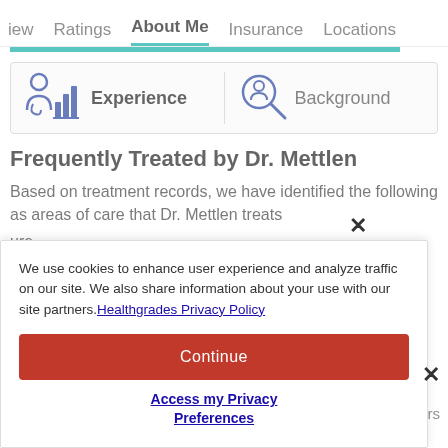iew   Ratings   About Me   Insurance   Locations
[Figure (screenshot): Navigation tab bar with tabs: iew, Ratings, About Me (active/underlined), Insurance, Locations]
[Figure (infographic): Card with two sections: Experience (icon of doctor with chart) and Background (icon of person with magnifying glass)]
Frequently Treated by Dr. Mettlen
Based on treatment records, we have identified the following as areas of care that Dr. Mettlen treats
We use cookies to enhance user experience and analyze traffic on our site. We also share information about your use with our site partners. Healthgrades Privacy Policy
Continue
Access my Privacy Preferences